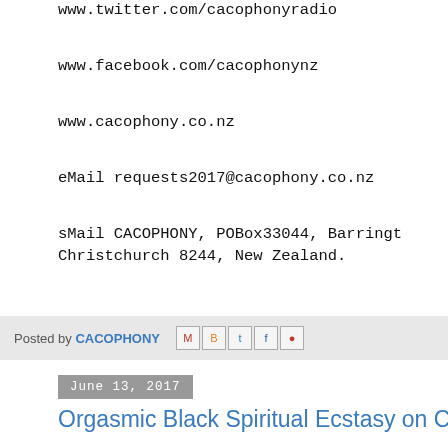www.twitter.com/cacophonyradio
www.facebook.com/cacophonynz
www.cacophony.co.nz
eMail requests2017@cacophony.co.nz
sMail CACOPHONY, POBox33044, Barrington, Christchurch 8244, New Zealand.
Posted by CACOPHONY [social icons: email, blogger, twitter, facebook, pinterest]
June 13, 2017
Orgasmic Black Spiritual Ecstasy on CACOP
~C A C O P H O N Y~